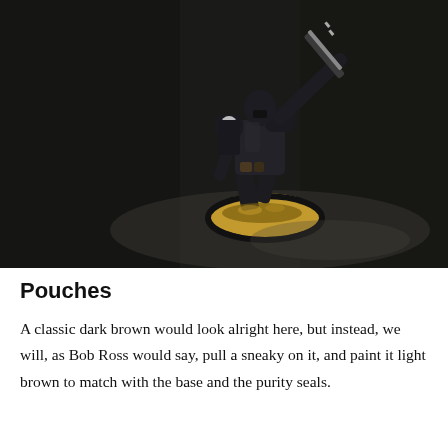[Figure (photo): A painted Warhammer 40K Space Marine miniature in black armor, holding a large chainsword raised upward, posed dynamically on a textured black base with sandy/grass basing material. The background is dark charcoal/black.]
Pouches
A classic dark brown would look alright here, but instead, we will, as Bob Ross would say, pull a sneaky on it, and paint it light brown to match with the base and the purity seals.